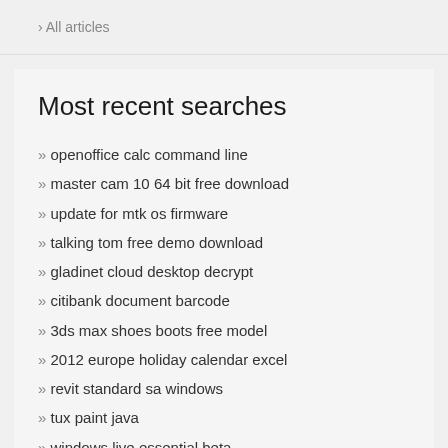› All articles
Most recent searches
openoffice calc command line
master cam 10 64 bit free download
update for mtk os firmware
talking tom free demo download
gladinet cloud desktop decrypt
citibank document barcode
3ds max shoes boots free model
2012 europe holiday calendar excel
revit standard sa windows
tux paint java
windows live essential beta
code vision win7 x86 download